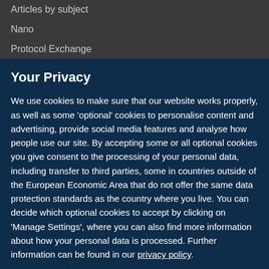Articles by subject
Nano
Protocol Exchange
Your Privacy
We use cookies to make sure that our website works properly, as well as some 'optional' cookies to personalise content and advertising, provide social media features and analyse how people use our site. By accepting some or all optional cookies you give consent to the processing of your personal data, including transfer to third parties, some in countries outside of the European Economic Area that do not offer the same data protection standards as the country where you live. You can decide which optional cookies to accept by clicking on 'Manage Settings', where you can also find more information about how your personal data is processed. Further information can be found in our privacy policy.
Accept all cookies
Manage preferences